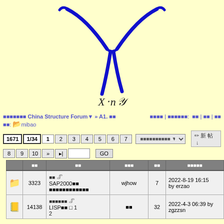[Figure (illustration): Blue hand-drawn Y-shape or slingshot-like figure on light yellow background]
中国结构论坛 China Structure Forum▼ » A1. 结构 　　　　论坛首页 | 论坛控制面板: 收藏 | 搜索 | 帮助 版主: mibao
|  | 回复 | 主题 | 作者/时间 | 回复 | 最后发言人时间 |
| --- | --- | --- | --- | --- | --- |
| [folder] | 3323 | 附件
SAP2000结构设计
典型案例集锦精华帖 | wjhow | 7 | 2022-8-19 16:15
by erzao |
| [book] | 14138 | 关于自学论坛
LISP知识 附件 1
2 | 论坛 | 32 | 2022-4-3 06:39 by zgzzsn |